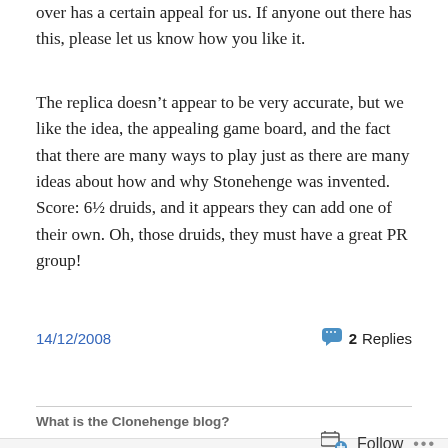over has a certain appeal for us. If anyone out there has this, please let us know how you like it.
The replica doesn’t appear to be very accurate, but we like the idea, the appealing game board, and the fact that there are many ways to play just as there are many ideas about how and why Stonehenge was invented. Score: 6½ druids, and it appears they can add one of their own. Oh, those druids, they must have a great PR group!
14/12/2008
2 Replies
What is the Clonehenge blog?